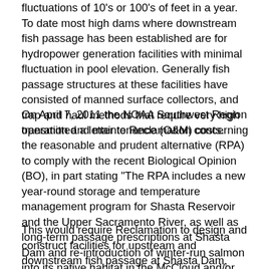fluctuations of 10's or 100's of feet in a year. To date most high dams where downstream fish passage has been established are for hydropower generation facilities with minimal fluctuation in pool elevation. Generally fish passage structures at these facilities have consisted of manned surface collectors, and trap and haul methods that require very high operation and maintenance (O&M) costs.
On April 7, 2011 the NOAA Southwest Region transmitted a letter to Reclamation concerning the reasonable and prudent alternative (RPA) to comply with the recent Biological Opinion (BO), in part stating "The RPA includes a new year-round storage and temperature management program for Shasta Reservoir and the Upper Sacramento River, as well as long-term passage prescriptions at Shasta Dam and re-introduction of winter-run salmon into its native habitat in the McCloud and/or Upper Sacramento rivers."
This would require Reclamation to design and construct facilities for upstream and downstream fish passage at Shasta Dam, which is a storage reservoir with significant pool fluctuation. Similar facilities have been mentioned for other Central Valley Project dams including Folsom.